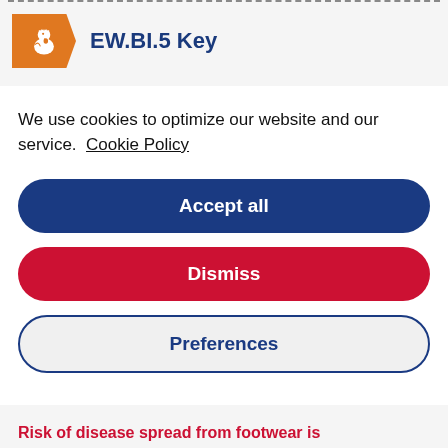EW.BI.5 Key
We use cookies to optimize our website and our service.  Cookie Policy
Accept all
Dismiss
Preferences
Risk of disease spread from footwear is